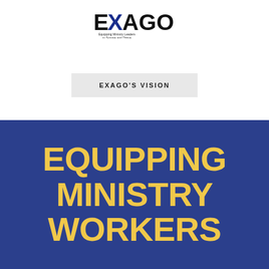[Figure (logo): EXAGO logo with tagline 'Equipping Ministry Leaders to Survive and Thrive']
EXAGO'S VISION
EQUIPPING MINISTRY WORKERS